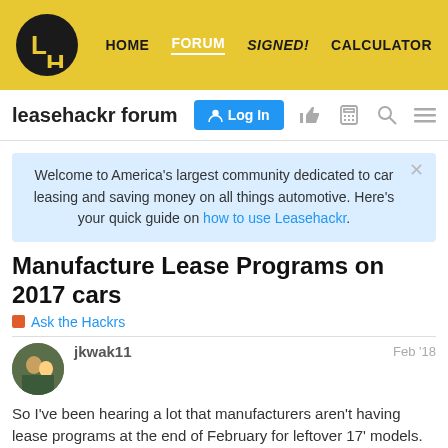HOME  FORUM  SIGNED!  CALCULATOR
leasehackr forum
Welcome to America's largest community dedicated to car leasing and saving money on all things automotive. Here's your quick guide on how to use Leasehackr.
Manufacture Lease Programs on 2017 cars
Ask the Hackrs
jkwak11  Feb '18
So I've been hearing a lot that manufacturers aren't having lease programs at the end of February for leftover 17' models.